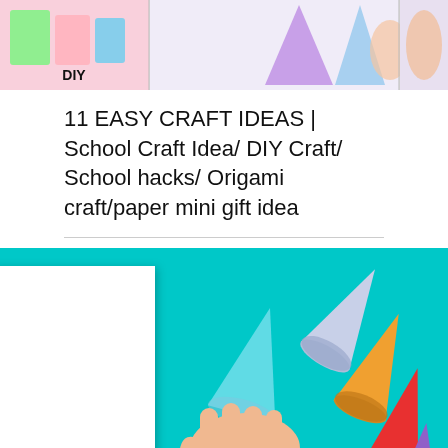[Figure (photo): Top strip with three craft/DIY images: left panel shows pink craft supplies with DIY label, middle panel shows purple cone/marker on white background, right panel shows light blue cone on light background]
11 EASY CRAFT IDEAS | School Craft Idea/ DIY Craft/ School hacks/ Origami craft/paper mini gift idea
[Figure (photo): Main image showing colorful paper cones on a turquoise background. A hand holds a large pink cone in the foreground. A white blank canvas/board is on the left. Multiple colorful cones (blue, yellow, red, purple, yellow) are arranged on the right side. A dark scroll-up button is in the bottom right corner.]